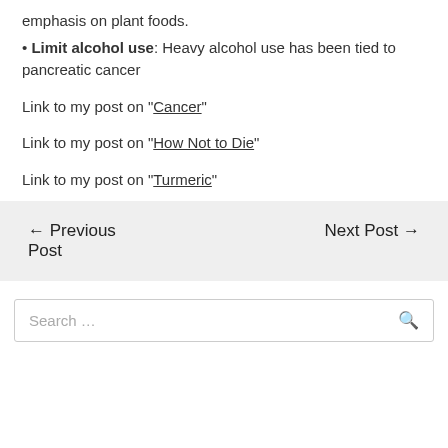emphasis on plant foods.
• Limit alcohol use: Heavy alcohol use has been tied to pancreatic cancer
Link to my post on “Cancer”
Link to my post on “How Not to Die”
Link to my post on “Turmeric”
← Previous Post   Next Post →
Search ...